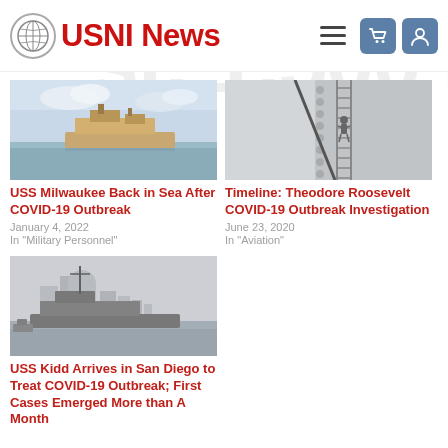USNI News
[Figure (photo): USS Milwaukee naval ship at sea with cloudy sky]
USS Milwaukee Back in Sea After COVID-19 Outbreak
January 4, 2022
In "Military Personnel"
[Figure (photo): Close-up of ship hull with ladder and rigging]
Timeline: Theodore Roosevelt COVID-19 Outbreak Investigation
June 23, 2020
In "Aviation"
[Figure (photo): USS Kidd naval ship with San Diego skyline in background]
USS Kidd Arrives in San Diego to Treat COVID-19 Outbreak; First Cases Emerged More than A Month